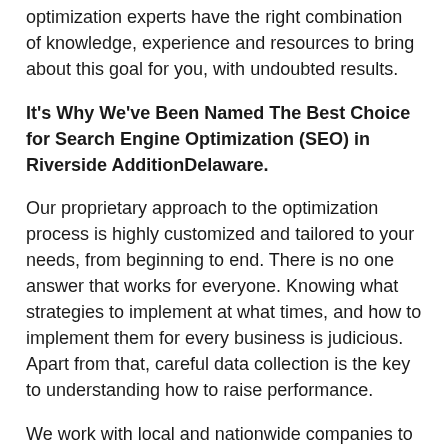optimization experts have the right combination of knowledge, experience and resources to bring about this goal for you, with undoubted results.
It's Why We've Been Named The Best Choice for Search Engine Optimization (SEO) in Riverside AdditionDelaware.
Our proprietary approach to the optimization process is highly customized and tailored to your needs, from beginning to end. There is no one answer that works for everyone. Knowing what strategies to implement at what times, and how to implement them for every business is judicious. Apart from that, careful data collection is the key to understanding how to raise performance.
We work with local and nationwide companies to bring about higher rankings online. Our teams backgrounds include specialized knowledge of: web stores, marketing, branding, social media campaigns, ecommerce, content creation, graphic design, corporate identity and logo design, API, wordpress,